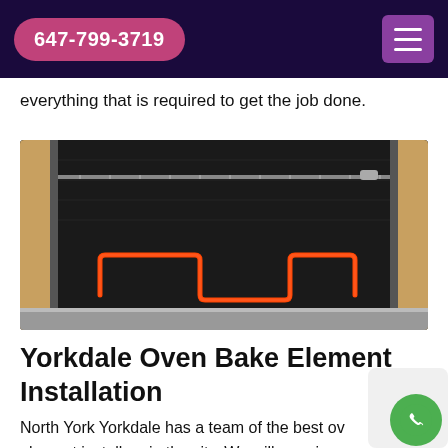647-799-3719
everything that is required to get the job done.
[Figure (photo): Open oven with glowing red bake element visible at the bottom, inside a dark oven cavity with a rack, surrounded by wooden cabinetry and stainless steel door frame.]
Yorkdale Oven Bake Element Installation
North York Yorkdale has a team of the best oven element installers in the city. We will promise yo...